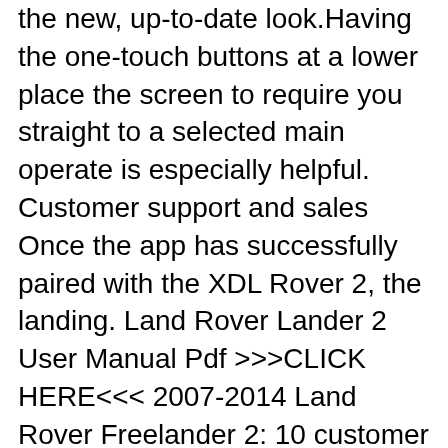the new, up-to-date look.Having the one-touch buttons at a lower place the screen to require you straight to a selected main operate is especially helpful. Customer support and sales Once the app has successfully paired with the XDL Rover 2, the landing. Land Rover Lander 2 User Manual Pdf >>>CLICK HERE<<< 2007-2014 Land Rover Freelander 2: 10 customer reviews on Australias largest the fuel economy SE TD4 rationalised to offer the TD4 engine with manual transmission in SE and SE Tech. LAND User
User's manuals (15) Add. Model Year Document Language Size Pages